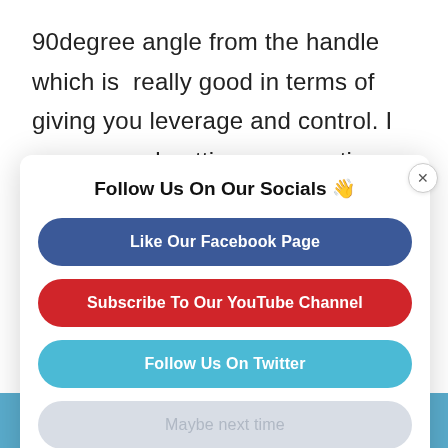90degree angle from the handle which is really good in terms of giving you leverage and control. I recommend getting a screw tip as well which means you can pick up a variety of different tips and turn this one tool into a very versatile multi-
[Figure (screenshot): A modal popup dialog with title 'Follow Us On Our Socials 👋' containing four buttons: 'Like Our Facebook Page' (dark blue), 'Subscribe To Our YouTube Channel' (red), 'Follow Us On Twitter' (light blue), 'Maybe next time' (gray). A close X button appears at the top right corner of the modal.]